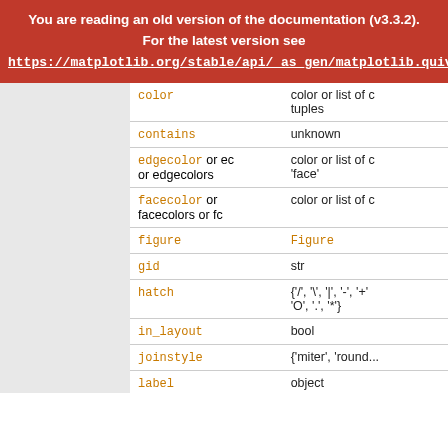You are reading an old version of the documentation (v3.3.2). For the latest version see https://matplotlib.org/stable/api/_as_gen/matplotlib.quiver.Barbs.h
| Parameter | Value |
| --- | --- |
| color | color or list of tuples |
| contains | unknown |
| edgecolor or ec or edgecolors | color or list of c 'face' |
| facecolor or facecolors or fc | color or list of c |
| figure | Figure |
| gid | str |
| hatch | {'/', '\', '|', '-', '+' 'O', '.', '*'} |
| in_layout | bool |
| joinstyle | {'miter', 'round... |
| label | object |
| linestyle or | str or tuple or l |